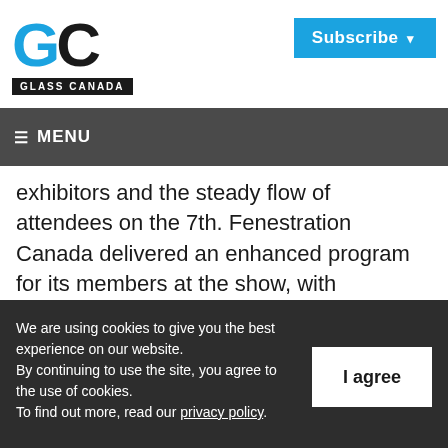[Figure (logo): Glass Canada magazine logo: large blue G and black C letters with GLASS CANADA text in white on black badge below]
[Figure (other): Subscribe button in blue with white text and dropdown arrow]
≡ MENU   Search
exhibitors and the steady flow of attendees on the 7th. Fenestration Canada delivered an enhanced program for its members at the show, with announcements of big donations to Habitat for Humanity and the Walk It Off Spinal Cord Wellness Centre, and the induction
We are using cookies to give you the best experience on our website.
By continuing to use the site, you agree to the use of cookies.
To find out more, read our privacy policy.